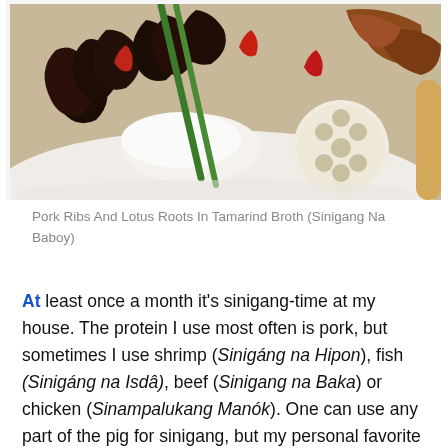[Figure (photo): A plate of Pork Ribs And Lotus Roots In Tamarind Broth (Sinigang Na Baboy) — showing dark leafy vegetables, green beans, red peppers, white rice, lotus root cross-section, and pork on a white plate.]
Pork Ribs And Lotus Roots In Tamarind Broth (Sinigang Na Baboy)
At least once a month it's sinigang-time at my house. The protein I use most often is pork, but sometimes I use shrimp (Sinigáng na Hipon), fish (Sinigáng na Isdâ), beef (Sinigang na Baka) or chicken (Sinampalukang Manók). One can use any part of the pig for sinigang, but my personal favorite cuts are the ribs and/or tails. This morning I found fresh ribs at my butcher, which I turned into this not-so-ordinary sinigang (chard and lotus roots